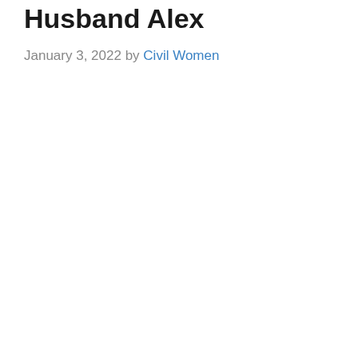Husband Alex
January 3, 2022 by Civil Women